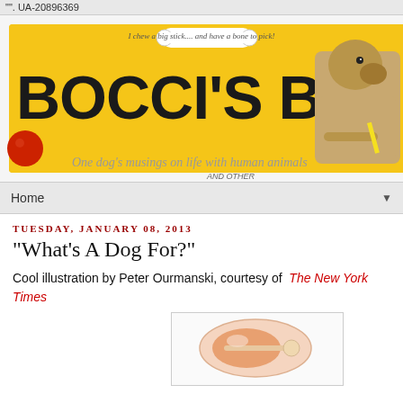"". UA-20896369
[Figure (illustration): Bocci's Beefs blog banner with yellow background, illustrated dog, bocce balls, and tagline 'I chew a big stick... and have a bone to pick!' and subtitle 'One dog's musings on life with human animals and other']
Home
TUESDAY, JANUARY 08, 2013
"What's A Dog For?"
Cool illustration by Peter Ourmanski, courtesy of  The New York Times
[Figure (illustration): Illustration of a chicken drumstick/turkey leg with cartoon styling]